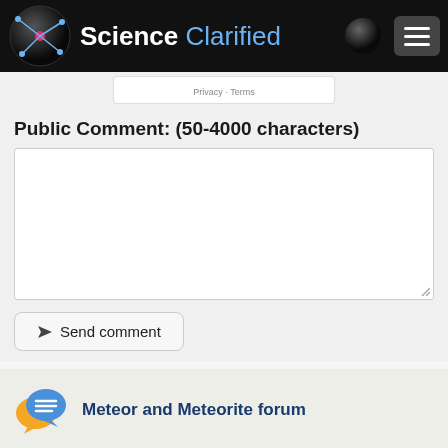Science Clarified
Privacy · Terms
Public Comment: (50-4000 characters)
[Figure (screenshot): Empty textarea for public comment input with resize handle]
Send comment
[Figure (illustration): Chat bubble icon with lines representing forum discussion]
Meteor and Meteorite forum
< Metamorphosis
Metric System >